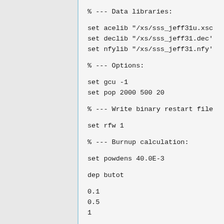% --- Data libraries:

set acelib "/xs/sss_jeff31u.xs"
set declib "/xs/sss_jeff31.dec"
set nfylib "/xs/sss_jeff31.nfy"

% --- Options:

set gcu -1
set pop 2000 500 20

% --- Write binary restart file

set rfw 1

% --- Burnup calculation:

set powdens 40.0E-3

dep butot

0.1
0.5
1